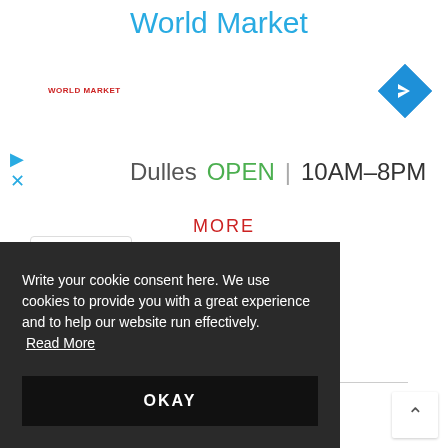World Market
[Figure (logo): World Market small red text logo]
[Figure (other): Blue diamond navigation/turn arrow icon]
[Figure (other): Play and X icons in blue]
Dulles  OPEN | 10AM–8PM
MORE
[Figure (other): Chevron up collapse button]
CONNECT
Write your cookie consent here. We use cookies to provide you with a great experience and to help our website run effectively. Read More
OKAY
RECENT POSTS